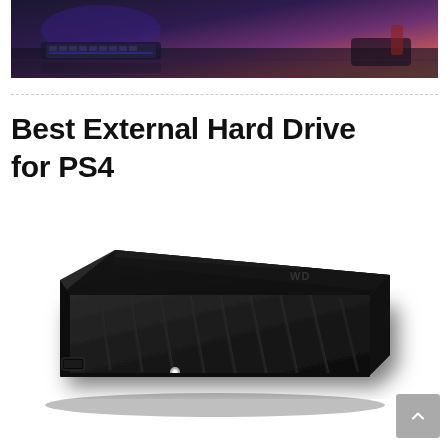[Figure (photo): Photo of a dark desktop setup with keyboard, monitor, and desk items illuminated with purple and blue ambient lighting]
Best External Hard Drive for PS4
[Figure (photo): Photo of a black WD My Passport external hard drive on a white background, showing ribbed texture design and USB port with LED indicator]